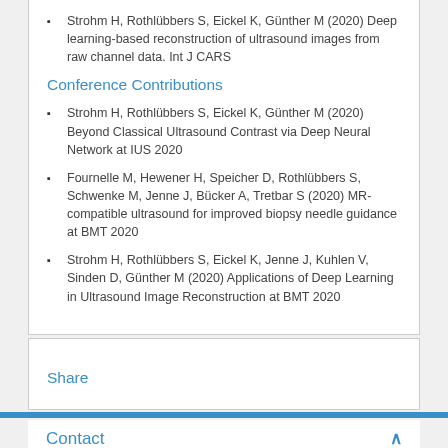Strohm H, Rothlübbers S, Eickel K, Günther M (2020) Deep learning-based reconstruction of ultrasound images from raw channel data. Int J CARS
Conference Contributions
Strohm H, Rothlübbers S, Eickel K, Günther M (2020) Beyond Classical Ultrasound Contrast via Deep Neural Network at IUS 2020
Fournelle M, Hewener H, Speicher D, Rothlübbers S, Schwenke M, Jenne J, Bücker A, Tretbar S (2020) MR-compatible ultrasound for improved biopsy needle guidance at BMT 2020
Strohm H, Rothlübbers S, Eickel K, Jenne J, Kuhlen V, Sinden D, Günther M (2020) Applications of Deep Learning in Ultrasound Image Reconstruction at BMT 2020
Share
Contact